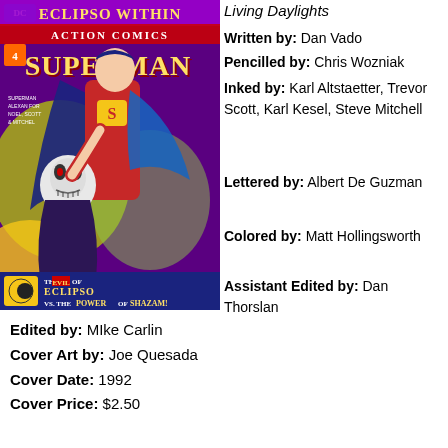[Figure (illustration): Comic book cover of Superman in Action Comics #4 - Eclipso Within. Shows Superman fighting a villain (Eclipso), with text 'The Evil of Eclipso vs. The Power of Shazam!' at bottom. Purple, yellow, and blue color scheme.]
Living Daylights
Written by: Dan Vado
Pencilled by: Chris Wozniak
Inked by: Karl Altstaetter, Trevor Scott, Karl Kesel, Steve Mitchell
Lettered by: Albert De Guzman
Colored by: Matt Hollingsworth
Assistant Edited by: Dan Thorslan
Edited by: MIke Carlin
Cover Art by: Joe Quesada
Cover Date: 1992
Cover Price: $2.50